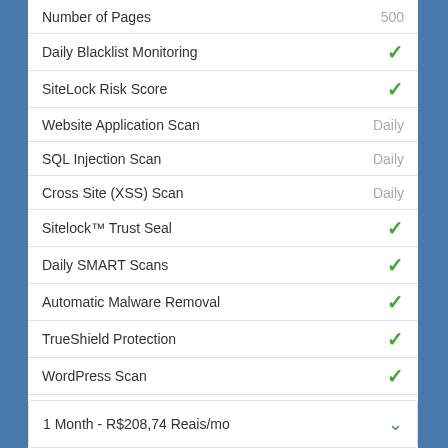| Feature | Value |
| --- | --- |
| Number of Pages | 500 |
| Daily Blacklist Monitoring | ✓ |
| SiteLock Risk Score | ✓ |
| Website Application Scan | Daily |
| SQL Injection Scan | Daily |
| Cross Site (XSS) Scan | Daily |
| Sitelock™ Trust Seal | ✓ |
| Daily SMART Scans | ✓ |
| Automatic Malware Removal | ✓ |
| TrueShield Protection | ✓ |
| WordPress Scan | ✓ |
| Spam Blacklist Monitoring | ✓ |
| Web Application Firewall | ✓ |
| Global CDN | ✓ |
| Content Acceleration | ✓ |
1 Month - R$208,74 Reais/mo